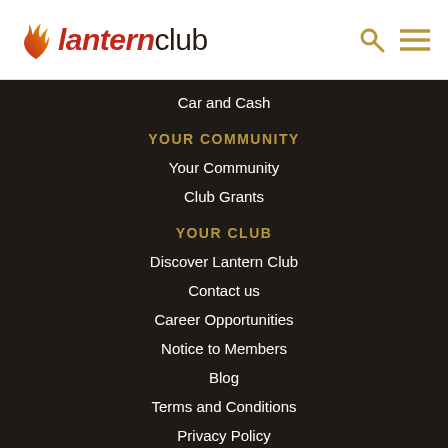[Figure (logo): Lantern Club logo with flame icon and text 'lanternclub']
Car and Cash
YOUR COMMUNITY
Your Community
Club Grants
YOUR CLUB
Discover Lantern Club
Contact us
Career Opportunities
Notice to Members
Blog
Terms and Conditions
Privacy Policy